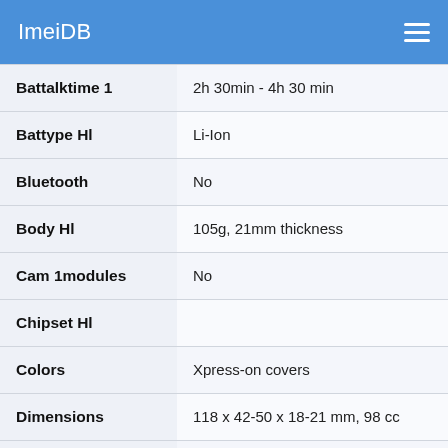ImeiDB
| Property | Value |
| --- | --- |
| Battalktime 1 | 2h 30min - 4h 30 min |
| Battype Hl | Li-Ion |
| Bluetooth | No |
| Body Hl | 105g, 21mm thickness |
| Cam 1modules | No |
| Chipset Hl |  |
| Colors | Xpress-on covers |
| Dimensions | 118 x 42-50 x 18-21 mm, 98 cc |
| Displayother | Dynamic font size Softkey Animated screensavers Welcome message Picture messaging (7 predefined + 1 |